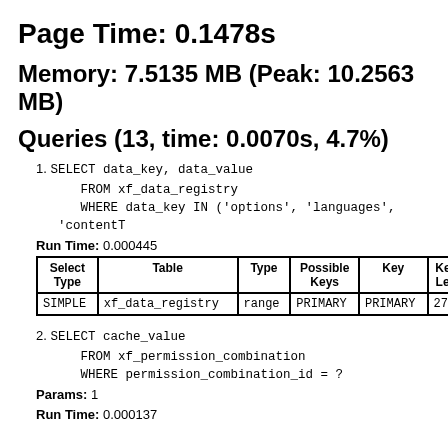Page Time: 0.1478s
Memory: 7.5135 MB (Peak: 10.2563 MB)
Queries (13, time: 0.0070s, 4.7%)
SELECT data_key, data_value
   FROM xf_data_registry
   WHERE data_key IN ('options', 'languages', 'content…
Run Time: 0.000445
| Select Type | Table | Type | Possible Keys | Key | Key Len |
| --- | --- | --- | --- | --- | --- |
| SIMPLE | xf_data_registry | range | PRIMARY | PRIMARY | 27 |
SELECT cache_value
   FROM xf_permission_combination
   WHERE permission_combination_id = ?
Params: 1
Run Time: 0.000137